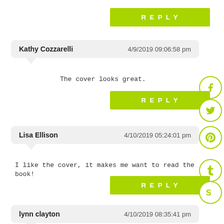REPLY
Kathy Cozzarelli   4/9/2019 09:06:58 pm
The cover looks great.
REPLY
Lisa Ellison   4/10/2019 05:24:01 pm
I like the cover, it makes me want to read the book!
REPLY
lynn clayton   4/10/2019 08:35:41 pm